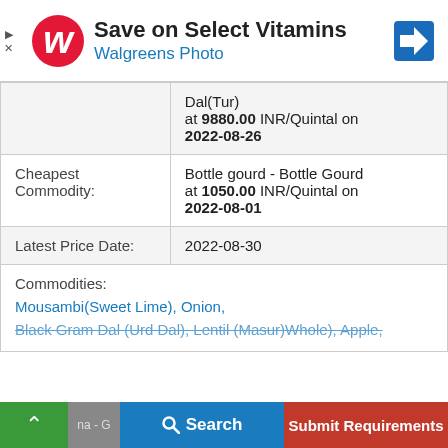[Figure (screenshot): Walgreens ad banner: Save on Select Vitamins / Walgreens Photo with logo and navigation icon]
|  | Dal(Tur) at 9880.00 INR/Quintal on 2022-08-26 |
| Cheapest Commodity: | Bottle gourd - Bottle Gourd at 1050.00 INR/Quintal on 2022-08-01 |
| Latest Price Date: | 2022-08-30 |
| Commodities: | Mousambi(Sweet Lime), Onion, Black Gram Dal (Urd Dal), Lentil (Masur)Whole), Apple, ... |
Search | Submit Requirements (bottom navigation bar)